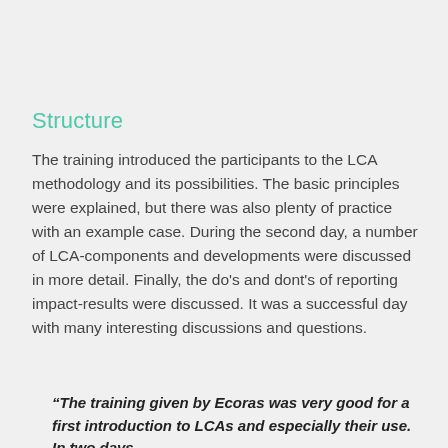Structure
The training introduced the participants to the LCA methodology and its possibilities. The basic principles were explained, but there was also plenty of practice with an example case. During the second day, a number of LCA-components and developments were discussed in more detail. Finally, the do's and dont's of reporting impact-results were discussed. It was a successful day with many interesting discussions and questions.
“The training given by Ecoras was very good for a first introduction to LCAs and especially their use. In two days